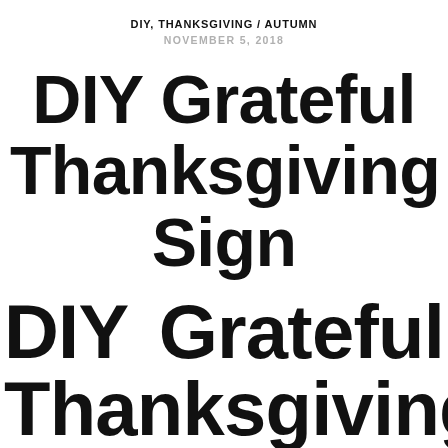DIY, THANKSGIVING / AUTUMN
NOVEMBER 5, 2018
DIY Grateful Thanksgiving Sign
DIY Grateful Thanksgiving Sign